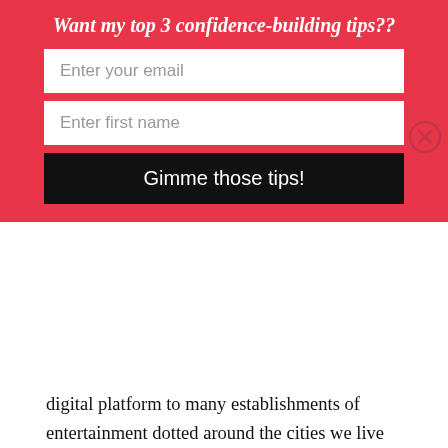Want my top 3 confidence-building tips??
Enter your email
Enter first name
Gimme those tips!
digital platform to many establishments of entertainment dotted around the cities we live in. We can become sidetracked by this if we're not careful. To know you're a badass, you need to know what you want, to find your orientation, and to do your best to make that your main priority. In pursuit of meaning, we can often forget all the little issues that impede us during the day and instead focus on that which really matters. When you do this, you have the courage reserve worthy of gifting you the